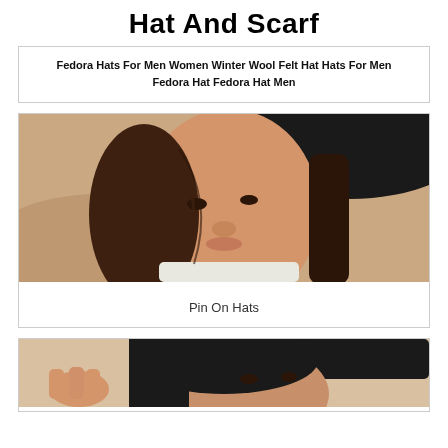Hat And Scarf
Fedora Hats For Men Women Winter Wool Felt Hat Hats For Men Fedora Hat Fedora Hat Men
[Figure (photo): Close-up portrait of a young woman wearing a wide-brim black fedora hat, with brown hair, against a warm beige/tan background, wearing a white knit sweater]
Pin On Hats
[Figure (photo): Partial view of another woman wearing a black hat, close-up portrait, dark hair, cropped at bottom of page]